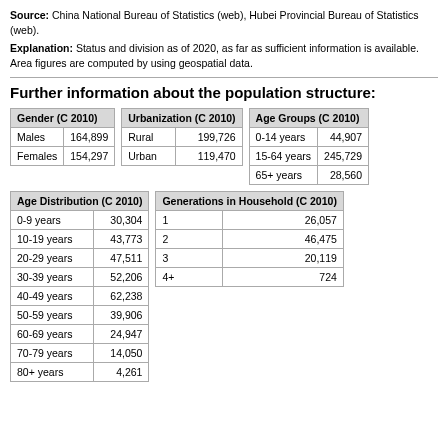Source: China National Bureau of Statistics (web), Hubei Provincial Bureau of Statistics (web).
Explanation: Status and division as of 2020, as far as sufficient information is available. Area figures are computed by using geospatial data.
Further information about the population structure:
| Gender (C 2010) |  |
| --- | --- |
| Males | 164,899 |
| Females | 154,297 |
| Urbanization (C 2010) |  |
| --- | --- |
| Rural | 199,726 |
| Urban | 119,470 |
| Age Groups (C 2010) |  |
| --- | --- |
| 0-14 years | 44,907 |
| 15-64 years | 245,729 |
| 65+ years | 28,560 |
| Age Distribution (C 2010) |  |
| --- | --- |
| 0-9 years | 30,304 |
| 10-19 years | 43,773 |
| 20-29 years | 47,511 |
| 30-39 years | 52,206 |
| 40-49 years | 62,238 |
| 50-59 years | 39,906 |
| 60-69 years | 24,947 |
| 70-79 years | 14,050 |
| 80+ years | 4,261 |
| Generations in Household (C 2010) |  |
| --- | --- |
| 1 | 26,057 |
| 2 | 46,475 |
| 3 | 20,119 |
| 4+ | 724 |